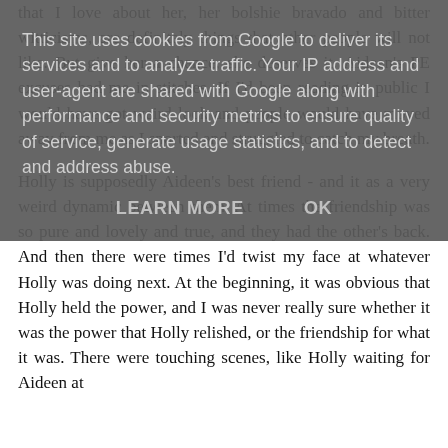This site uses cookies from Google to deliver its services and to analyze traffic. Your IP address and user-agent are shared with Google along with performance and security metrics to ensure quality of service, generate usage statistics, and to detect and address abuse.
LEARN MORE   OK
that I love about her, her bolshie bravado and bitter witticisms, are definitely things that other people will not like. But give her a chance, she deserves it. Aideen's PE excuses had me in stitches. If I'd been reading in public I would have got weird look and people would have moved away from me as I snorted and struggled to catch my breath.
Holly is supposedly Aideen's best friend - and it as a very weird dynamic between them. At times the friendship was so pure and lovely and true, and they had the other's back. And then there were times I'd twist my face at whatever Holly was doing next. At the beginning, it was obvious that Holly held the power, and I was never really sure whether it was the power that Holly relished, or the friendship for what it was. There were touching scenes, like Holly waiting for Aideen at